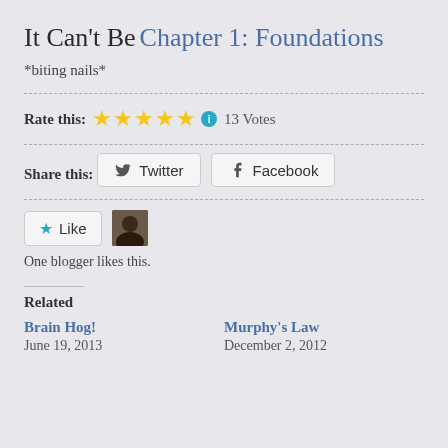It Can’t Be
Chapter 1: Foundations
*biting nails*
Rate this: ★★★★★ ℹ 13 Votes
Share this:
Twitter  Facebook
Like  [avatar]
One blogger likes this.
Related
Brain Hog!
June 19, 2013
Murphy’s Law
December 2, 2012